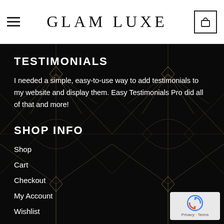GLAM LUXE
TESTIMONIALS
I needed a simple, easy-to-use way to add testimonials to my website and display them. Easy Testimonials Pro did all of that and more!
SHOP INFO
Shop
Cart
Checkout
My Account
Wishlist